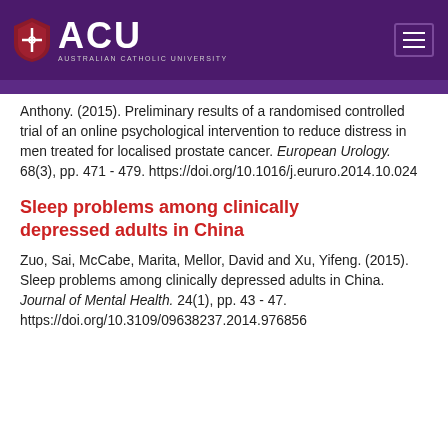ACU - Australian Catholic University
Anthony. (2015). Preliminary results of a randomised controlled trial of an online psychological intervention to reduce distress in men treated for localised prostate cancer. European Urology. 68(3), pp. 471 - 479. https://doi.org/10.1016/j.eururo.2014.10.024
Sleep problems among clinically depressed adults in China
Zuo, Sai, McCabe, Marita, Mellor, David and Xu, Yifeng. (2015). Sleep problems among clinically depressed adults in China. Journal of Mental Health. 24(1), pp. 43 - 47. https://doi.org/10.3109/09638237.2014.976856